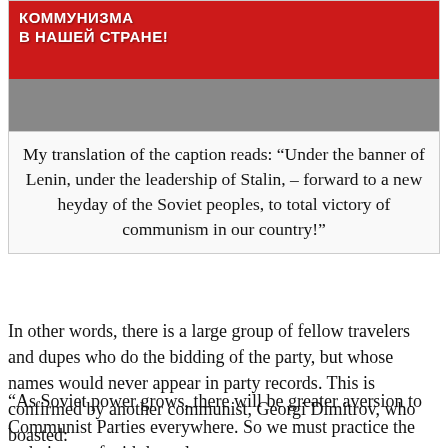[Figure (illustration): Soviet propaganda poster with red background showing Cyrillic text 'КОММУНИЗМА В НАШЕЙ СТРАНЕ!' and a figure in military uniform]
My translation of the caption reads: “Under the banner of Lenin, under the leadership of Stalin, – forward to a new heyday of the Soviet peoples, to total victory of communism in our country!”
In other words, there is a large group of fellow travelers and dupes who do the bidding of the party, but whose names would never appear in party records. This is confirmed by another communist, Georgi Dimitrov, who boasted:
“As Soviet power grows, there will be greater aversion to Communist Parties everywhere. So we must practice the techniques of withdrawal,